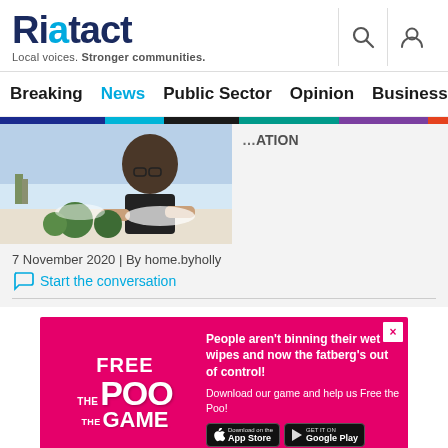Riotact — Local voices. Stronger communities.
Breaking | News | Public Sector | Opinion | Business | R
[Figure (photo): Person working on craft project with green moss balls on a table, snow-like material in background]
7 November 2020 | By home.byholly
Start the conversation
[Figure (infographic): Advertisement for 'Free the Poo The Game' — pink background with bold stylized text logo on left, white text on right reading: 'People aren't binning their wet wipes and now the fatberg's out of control! Download our game and help us Free the Poo!' with App Store and Google Play download badges.]